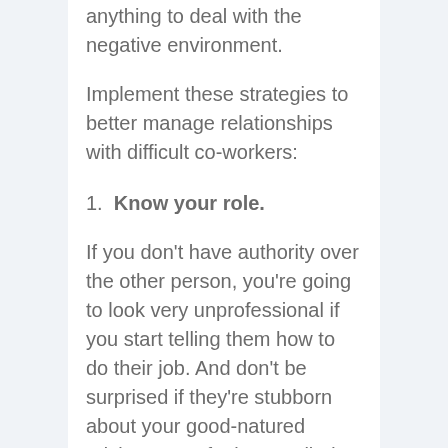anything to deal with the negative environment.
Implement these strategies to better manage relationships with difficult co-workers:
1. Know your role.
If you don't have authority over the other person, you're going to look very unprofessional if you start telling them how to do their job. And don't be surprised if they're stubborn about your good-natured advice. Don't feel compelled to solve the personnel problem. You're not the boss. Instead